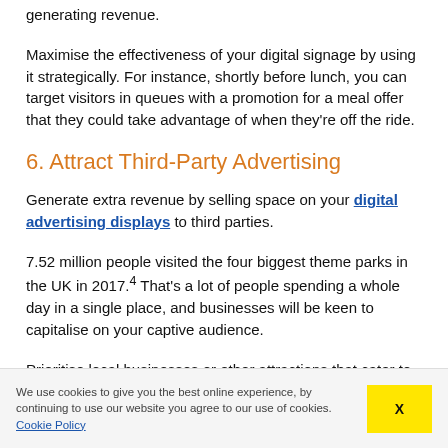generating revenue.
Maximise the effectiveness of your digital signage by using it strategically. For instance, shortly before lunch, you can target visitors in queues with a promotion for a meal offer that they could take advantage of when they're off the ride.
6. Attract Third-Party Advertising
Generate extra revenue by selling space on your digital advertising displays to third parties.
7.52 million people visited the four biggest theme parks in the UK in 2017.4 That's a lot of people spending a whole day in a single place, and businesses will be keen to capitalise on your captive audience.
Prioritise local businesses or other attractions that cater to the demographics of your visitors. By doing so, you keep your in
We use cookies to give you the best online experience, by continuing to use our website you agree to our use of cookies. Cookie Policy